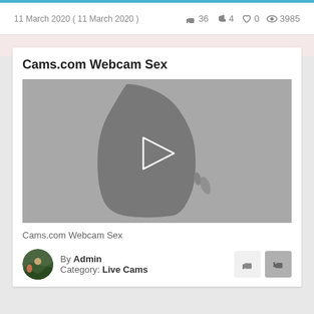11 March 2020 ( 11 March 2020 )  👍 36  👎 4  ♡ 0  👁 3985
Cams.com Webcam Sex
[Figure (screenshot): Video thumbnail placeholder with a dark grey silhouette shape and a white play button triangle in the center]
Cams.com Webcam Sex
By Admin
Category: Live Cams